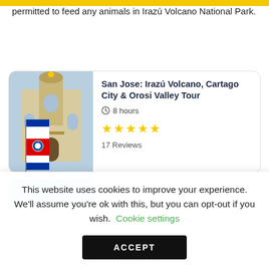permitted to feed any animals in Irazú Volcano National Park.
[Figure (photo): Tour listing card showing a cathedral-style building with Costa Rica flag. Title: San Jose: Irazú Volcano, Cartago City & Orosi Valley Tour. Duration: 8 hours. Rating: 5 stars. 17 Reviews.]
[Figure (photo): Partial tour listing card with blue image, title: San José: Irazú and Turrialba]
This website uses cookies to improve your experience. We'll assume you're ok with this, but you can opt-out if you wish. Cookie settings
ACCEPT